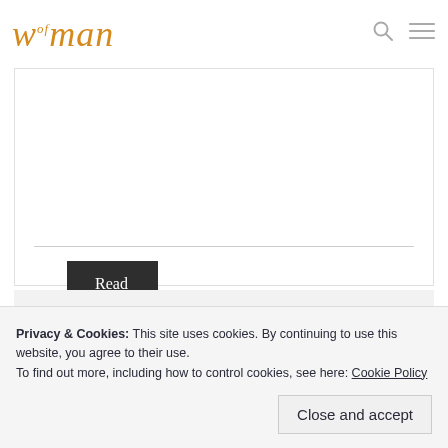woman
Read More
[Figure (photo): Top portion of a person with curly dark hair against a light wood-panel background, with a hand near their face]
Privacy & Cookies: This site uses cookies. By continuing to use this website, you agree to their use.
To find out more, including how to control cookies, see here: Cookie Policy
Close and accept